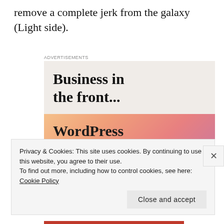remove a complete jerk from the galaxy (Light side).
[Figure (illustration): Advertisement banner. Top section: light beige background with bold text 'Business in the front...' Bottom section: colorful gradient background (orange, pink, mauve) with bold text 'WordPress in the back.']
Privacy & Cookies: This site uses cookies. By continuing to use this website, you agree to their use.
To find out more, including how to control cookies, see here: Cookie Policy
Close and accept